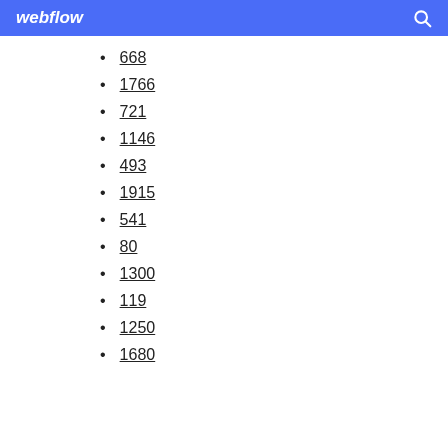webflow
668
1766
721
1146
493
1915
541
80
1300
119
1250
1680